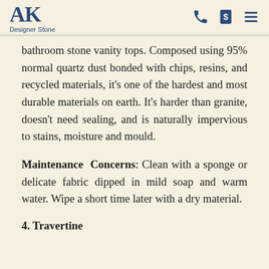AK Designer Stone
bathroom stone vanity tops. Composed using 95% normal quartz dust bonded with chips, resins, and recycled materials, it's one of the hardest and most durable materials on earth. It's harder than granite, doesn't need sealing, and is naturally impervious to stains, moisture and mould.
Maintenance Concerns: Clean with a sponge or delicate fabric dipped in mild soap and warm water. Wipe a short time later with a dry material.
4. Travertine